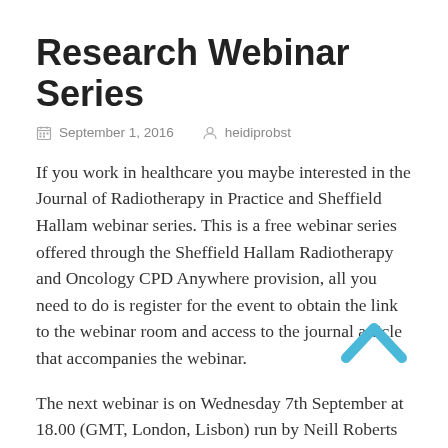Research Webinar Series
September 1, 2016   heidiprobst
If you work in healthcare you maybe interested in the Journal of Radiotherapy in Practice and Sheffield Hallam webinar series. This is a free webinar series offered through the Sheffield Hallam Radiotherapy and Oncology CPD Anywhere provision, all you need to do is register for the event to obtain the link to the webinar room and access to the journal article that accompanies the webinar.
The next webinar is on Wednesday 7th September at 18.00 (GMT, London, Lisbon) run by Neill Roberts from the St James' Institute of ...